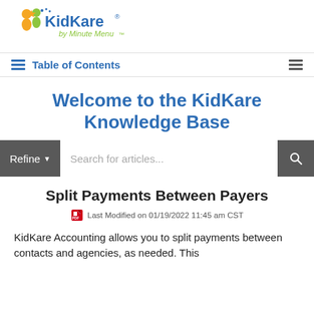[Figure (logo): KidKare by Minute Menu logo — yellow and green cartoon characters with star, blue KidKare text, green 'by Minute Menu' subtitle]
Table of Contents
Welcome to the KidKare Knowledge Base
[Figure (screenshot): Search bar with Refine dropdown button on left (dark gray), white search input field with placeholder 'Search for articles...', and magnifying glass icon on right (dark gray)]
Split Payments Between Payers
Last Modified on 01/19/2022 11:45 am CST
KidKare Accounting allows you to split payments between contacts and agencies, as needed. This